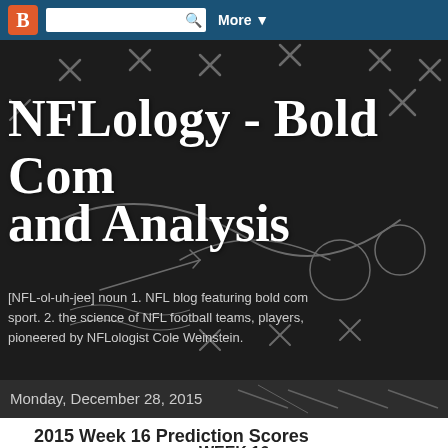Blogger nav bar with search and More button
[Figure (screenshot): NFLology blog header image with dark chalkboard background showing football play diagrams and large white serif title text 'NFLology - Bold Com... and Analysis' with subtitle text about NFL blog definition]
Monday, December 28, 2015
2015 Week 16 Prediction Scores
WEEK 16